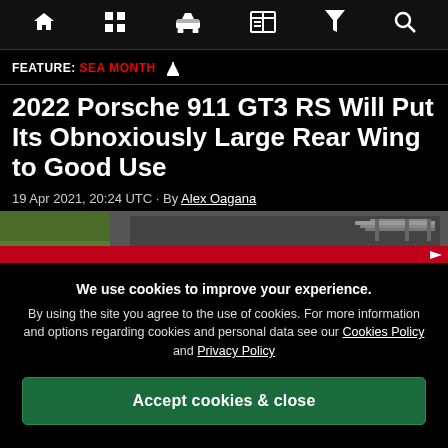Navigation bar with home, grid, car, newspaper, filter, search icons
FEATURE: SEA MONTH ⛵
2022 Porsche 911 GT3 RS Will Put Its Obnoxiously Large Rear Wing to Good Use
19 Apr 2021, 20:24 UTC · By Alex Oagana
[Figure (photo): Partial photo of a red Porsche 911 GT3 RS rear wing on a race track]
We use cookies to improve your experience. By using the site you agree to the use of cookies. For more information and options regarding cookies and personal data see our Cookies Policy and Privacy Policy
Accept cookies & close
California residents: Do Not Sell My Info